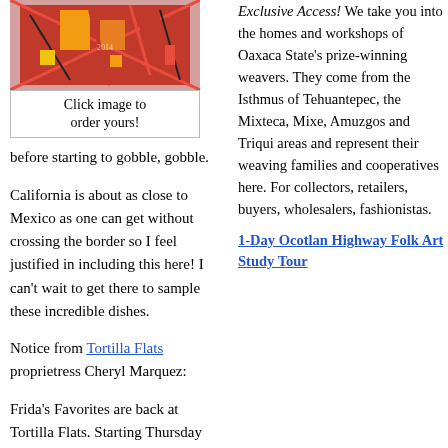[Figure (photo): Colorful decorative image, possibly folk art or textile with red, yellow, and black colors]
Click image to order yours!
before starting to gobble, gobble.
California is about as close to Mexico as one can get without crossing the border so I feel justified in including this here!  I can't wait to get there to sample these incredible dishes.
Notice from Tortilla Flats proprietress Cheryl Marquez:
Frida's Favorites are back at Tortilla Flats. Starting Thursday and continuing through Sunday the recipes of Frida Kahlo will be featured. Frida's role as wife to the great muralist Diego Rivera included that of hostess to their many friends
Exclusive Access! We take you into the homes and workshops of Oaxaca State's prize-winning weavers. They come from the Isthmus of Tehuantepec, the Mixteca, Mixe, Amuzgos and Triqui areas and represent their weaving families and cooperatives here. For collectors, retailers, buyers, wholesalers, fashionistas.
1-Day Ocotlan Highway Folk Art Study Tour